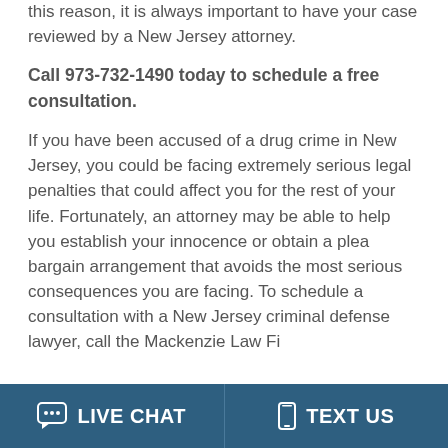this reason, it is always important to have your case reviewed by a New Jersey attorney.
Call 973-732-1490 today to schedule a free consultation.
If you have been accused of a drug crime in New Jersey, you could be facing extremely serious legal penalties that could affect you for the rest of your life. Fortunately, an attorney may be able to help you establish your innocence or obtain a plea bargain arrangement that avoids the most serious consequences you are facing. To schedule a consultation with a New Jersey criminal defense lawyer, call the Mackenzie Law Fi...
LIVE CHAT   TEXT US